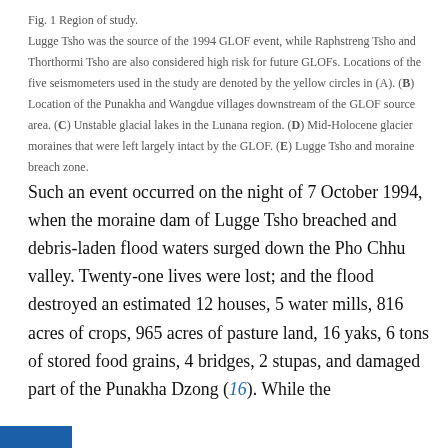Fig. 1 Region of study. Lugge Tsho was the source of the 1994 GLOF event, while Raphstreng Tsho and Thorthormi Tsho are also considered high risk for future GLOFs. Locations of the five seismometers used in the study are denoted by the yellow circles in (A). (B) Location of the Punakha and Wangdue villages downstream of the GLOF source area. (C) Unstable glacial lakes in the Lunana region. (D) Mid-Holocene glacier moraines that were left largely intact by the GLOF. (E) Lugge Tsho and moraine breach zone.
Such an event occurred on the night of 7 October 1994, when the moraine dam of Lugge Tsho breached and debris-laden flood waters surged down the Pho Chhu valley. Twenty-one lives were lost; and the flood destroyed an estimated 12 houses, 5 water mills, 816 acres of crops, 965 acres of pasture land, 16 yaks, 6 tons of stored food grains, 4 bridges, 2 stupas, and damaged part of the Punakha Dzong (16). While the